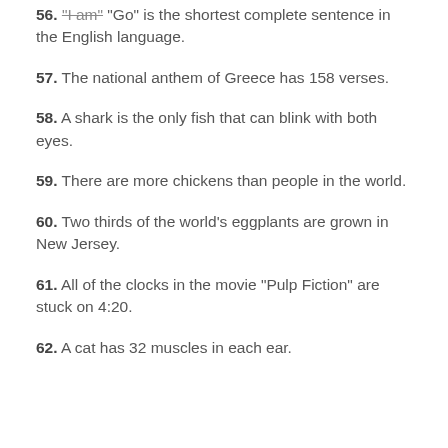56. "I am" "Go" is the shortest complete sentence in the English language.
57. The national anthem of Greece has 158 verses.
58. A shark is the only fish that can blink with both eyes.
59. There are more chickens than people in the world.
60. Two thirds of the world's eggplants are grown in New Jersey.
61. All of the clocks in the movie "Pulp Fiction" are stuck on 4:20.
62. A cat has 32 muscles in each ear.